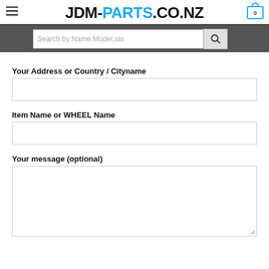JDM-PARTS.CO.NZ
Search by Name,Model,sto
Your Address or Country / Cityname
Item Name or WHEEL Name
Your message (optional)